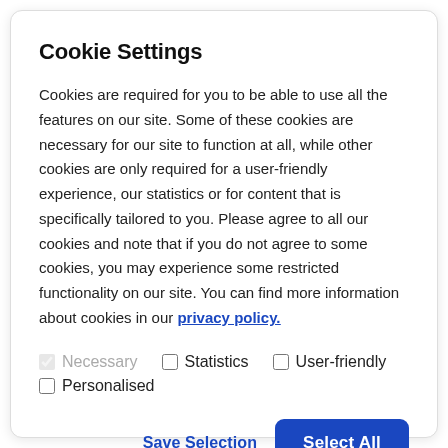Cookie Settings
Cookies are required for you to be able to use all the features on our site. Some of these cookies are necessary for our site to function at all, while other cookies are only required for a user-friendly experience, our statistics or for content that is specifically tailored to you. Please agree to all our cookies and note that if you do not agree to some cookies, you may experience some restricted functionality on our site. You can find more information about cookies in our privacy policy.
Necessary (checked, disabled)
Statistics (unchecked)
User-friendly (unchecked)
Personalised (unchecked)
Save Selection
Select All